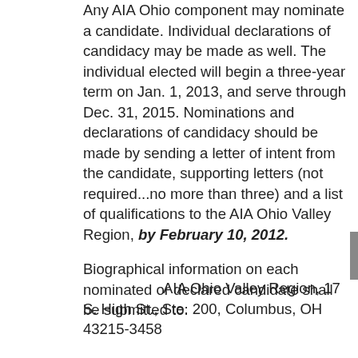Any AIA Ohio component may nominate a candidate.  Individual declarations of candidacy may be made as well.  The individual elected will begin a three-year term on Jan. 1, 2013, and serve through Dec. 31, 2015.  Nominations and declarations of candidacy should be made by sending a letter of intent from the candidate, supporting letters (not required...no more than three) and a list of qualifications to the AIA Ohio Valley Region, by February 10, 2012.
Biographical information on each nominated or declared candidate shall be submitted to:
AIA Ohio Valley Region, 17 S. High St., Ste. 200, Columbus, OH  43215-3458